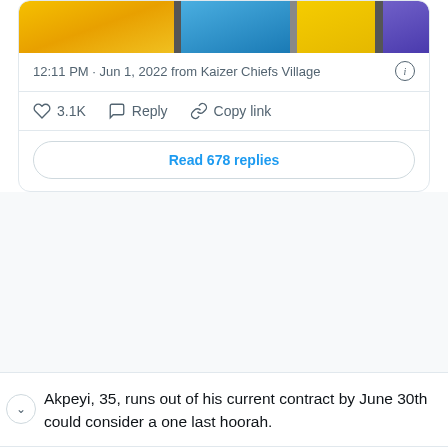[Figure (screenshot): Partial screenshot of a tweet card with colorful image at top (yellow, blue, purple segments), timestamp '12:11 PM · Jun 1, 2022 from Kaizer Chiefs Village' with info icon, action bar with heart (3.1K), Reply, Copy link, and a 'Read 678 replies' button.]
12:11 PM · Jun 1, 2022 from Kaizer Chiefs Village
3.1K   Reply   Copy link
Read 678 replies
Akpeyi, 35, runs out of his current contract by June 30th could consider a one last hoorah.
[Figure (screenshot): Advertisement for sweetFrog frozen yogurt. Logo on left with 'sweet' in pink and 'Frog' in green. Text: 'Treat yourself with some froyo' and 'sweetFrog'. Blue diamond-shaped icon with right-pointing arrow on right.]